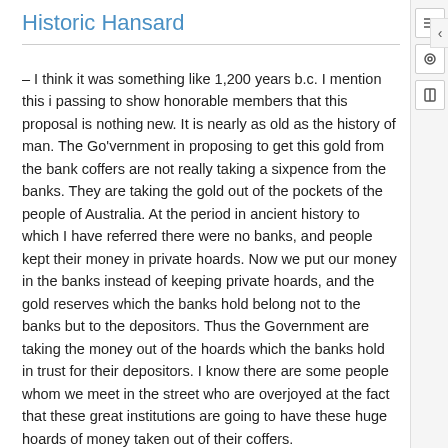Historic Hansard
– I think it was something like 1,200 years b.c. I mention this in passing to show honorable members that this proposal is nothing new. It is nearly as old as the history of man. The Go'vernment in proposing to get this gold from the bank coffers are not really taking a sixpence from the banks. They are taking the gold out of the pockets of the people of Australia. At the period in ancient history to which I have referred there were no banks, and people kept their money in private hoards. Now we put our money in the banks instead of keeping private hoards, and the gold reserves which the banks hold belong not to the banks but to the depositors. Thus the Government are taking the money out of the hoards which the banks hold in trust for their depositors. I know there are some people whom we meet in the street who are overjoyed at the fact that these great institutions are going to have these huge hoards of money taken out of their coffers.
Mr Fisher: